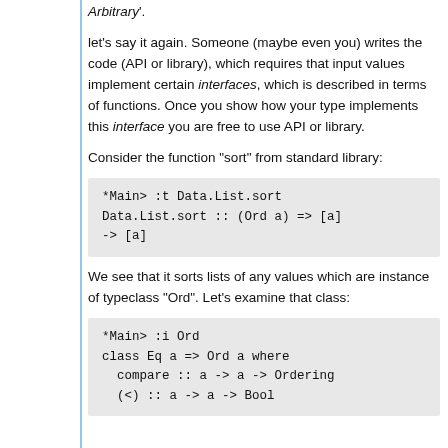Arbitrary'.
let's say it again. Someone (maybe even you) writes the code (API or library), which requires that input values implement certain interfaces, which is described in terms of functions. Once you show how your type implements this interface you are free to use API or library.
Consider the function "sort" from standard library:
We see that it sorts lists of any values which are instance of typeclass "Ord". Let's examine that class: